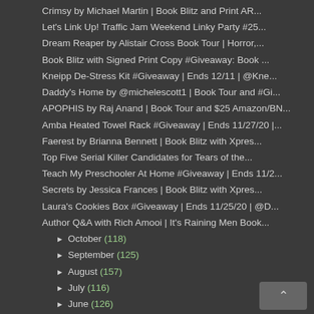Crimsy by Michael Martin | Book Blitz and Print AR...
Let's Link Up! Traffic Jam Weekend Linky Party #25...
Dream Reaper by Alistair Cross Book Tour | Horror,...
Book Blitz with Signed Print Copy #Giveaway: Book ...
Kneipp De-Stress Kit #Giveaway | Ends 12/11 | @Kne...
Daddy's Home by @michelescott1 | Book Tour and #Gi...
APOPHIS by Raj Anand | Book Tour and $25 Amazon/BN...
Amba Heated Towel Rack #Giveaway | Ends 11/27/20 |...
Faerest by Brianna Bennett | Book Blitz with Xpres...
Top Five Serial Killer Candidates for Tears of the...
Teach My Preschooler At Home #Giveaway | Ends 11/2...
Secrets by Jessica Frances | Book Blitz with Xpres...
Laura's Cookies Box #Giveaway | Ends 11/25/20 | @D...
Author Q&A with Rich Amooi | It's Raining Men Book...
October (118)
September (125)
August (157)
July (116)
June (126)
May (115)
April (121)
March (162)
February (145)
January (147)
2019 (1841)
2018 (1190)
2017 (478)
2016 (373)